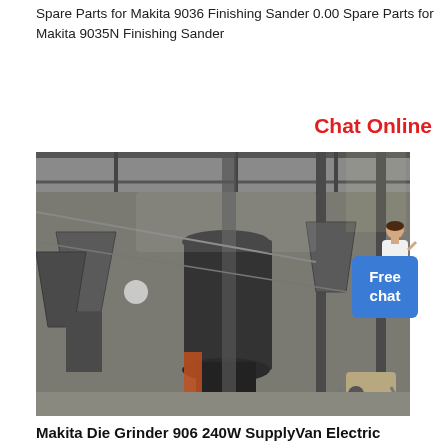Spare Parts for Makita 9036 Finishing Sander 0.00 Spare Parts for Makita 9035N Finishing Sander
Chat Online
[Figure (photo): Industrial machinery inside a large factory or warehouse: a large dark cylindrical grinding/milling machine at center, surrounded by metal structural beams, hoppers, conveyor structures, and a wheelbarrow at right. Natural and artificial light visible through the ceiling.]
Makita Die Grinder 906 240W SupplyVan Electric
Buy Original Makita Die Grinder 906 240W from SupplyVan Also